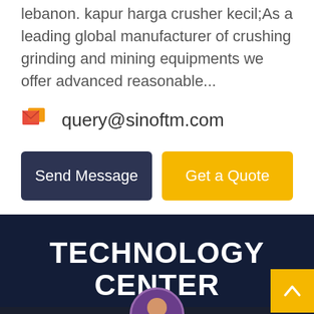lebanon. kapur harga crusher kecil;As a leading global manufacturer of crushing grinding and mining equipments we offer advanced reasonable...
query@sinoftm.com
Send Message
Get a Quote
TECHNOLOGY CENTER
We cherish your every online consultation, professional attitude, nate service, for y analysis, planning
Leave Message
Chat Online